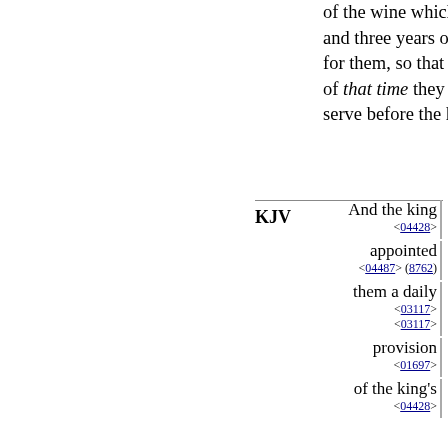of the wine which he drank, and three years of training for them, so that at the end of that time they might serve before the king.
KJV   And the king <04428> appointed <04487> (8762) them a daily <03117> <03117> provision <01697> of the king's <04428>